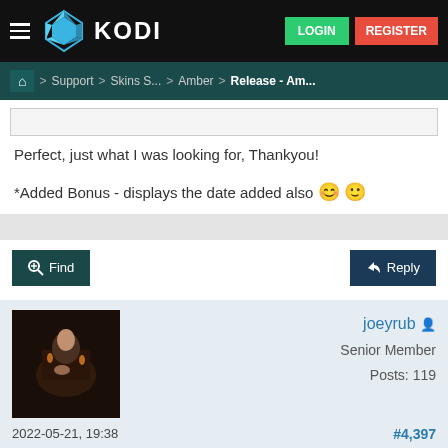KODI | LOGIN | REGISTER
Home > Support > Skins S... > Amber > Release - Am...
Perfect, just what I was looking for, Thankyou!
*Added Bonus - displays the date added also 🙂 🙂
Find | Reply
joeyrub
Senior Member
Posts: 119
2022-05-21, 19:38  #4,397
Hey there Bart.
How you doing well.